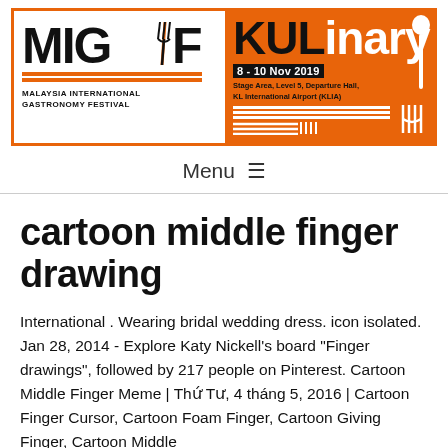[Figure (logo): MIGF KULinary banner - Malaysia International Gastronomy Festival, 8-10 Nov 2019, Stage Area, Level 5, Departure Hall, KL International Airport (KLIA)]
Menu ≡
cartoon middle finger drawing
International . Wearing bridal wedding dress. icon isolated. Jan 28, 2014 - Explore Katy Nickell's board "Finger drawings", followed by 217 people on Pinterest. Cartoon Middle Finger Meme | Thứ Tư, 4 tháng 5, 2016 | Cartoon Finger Cursor, Cartoon Foam Finger, Cartoon Giving Finger, Cartoon Middle Finger | more at Cartoon Middle Finger...